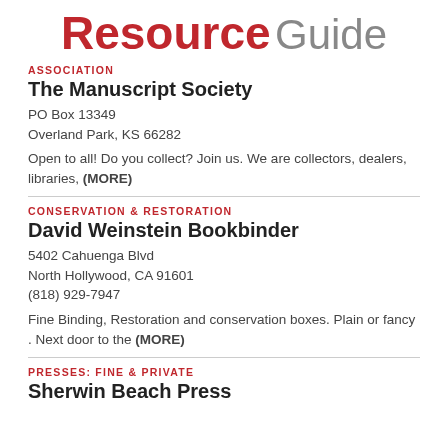Resource Guide
ASSOCIATION
The Manuscript Society
PO Box 13349
Overland Park, KS 66282
Open to all! Do you collect? Join us. We are collectors, dealers, libraries, (MORE)
CONSERVATION & RESTORATION
David Weinstein Bookbinder
5402 Cahuenga Blvd
North Hollywood, CA 91601
(818) 929-7947
Fine Binding, Restoration and conservation boxes. Plain or fancy . Next door to the (MORE)
PRESSES: FINE & PRIVATE
Sherwin Beach Press